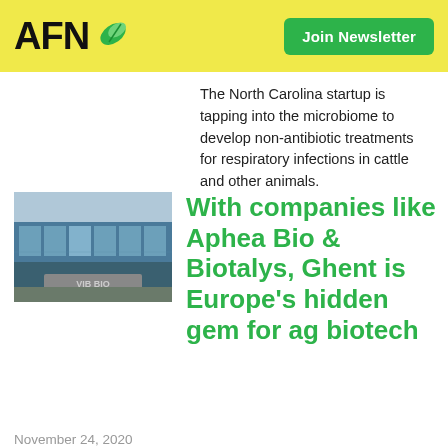AFN | Join Newsletter
The North Carolina startup is tapping into the microbiome to develop non-antibiotic treatments for respiratory infections in cattle and other animals.
[Figure (photo): Exterior photo of a modern glass-fronted building with a sign reading VIB BIO]
With companies like Aphea Bio & Biotalys, Ghent is Europe's hidden gem for ag biotech
November 24, 2020
Ghent's Aphea Bio – which offers a novel, algorithm-driven approach to biological crop protection – just raised